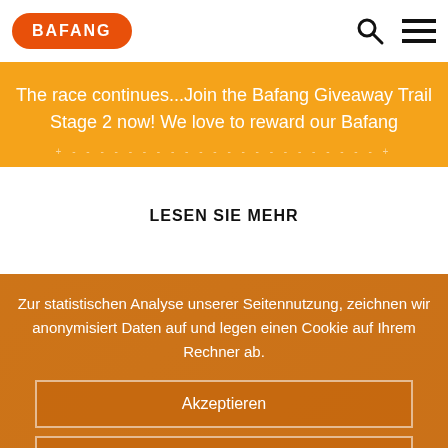[Figure (logo): Bafang logo — white text on orange rounded rectangle badge]
[Figure (other): Search icon (magnifying glass) and hamburger menu icon in the top right header area]
The race continues...Join the Bafang Giveaway Trail Stage 2 now! We love to reward our Bafang
LESEN SIE MEHR
Zur statistischen Analyse unserer Seitennutzung, zeichnen wir anonymisiert Daten auf und legen einen Cookie auf Ihrem Rechner ab.
Akzeptieren
Ablehnen
Datenschutzhinweise